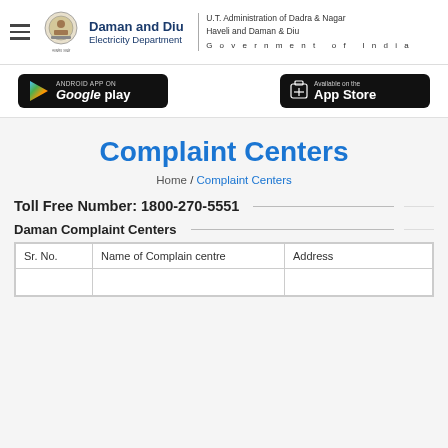Daman and Diu Electricity Department — U.T. Administration of Dadra & Nagar Haveli and Daman & Diu — Government of India
[Figure (screenshot): Google Play app download button]
[Figure (screenshot): App Store app download button]
Complaint Centers
Home / Complaint Centers
Toll Free Number: 1800-270-5551
Daman Complaint Centers
| Sr. No. | Name of Complain centre | Address |
| --- | --- | --- |
|  |  |  |